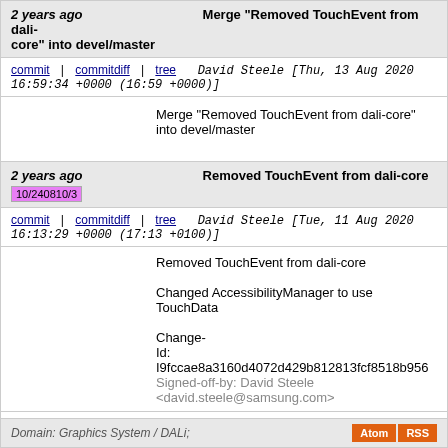2 years ago   Merge "Removed TouchEvent from dali-core" into devel/master
commit | commitdiff | tree   David Steele [Thu, 13 Aug 2020 16:59:34 +0000 (16:59 +0000)]
Merge "Removed TouchEvent from dali-core" into devel/master
2 years ago   Removed TouchEvent from dali-core
10/240810/3
commit | commitdiff | tree   David Steele [Tue, 11 Aug 2020 16:13:29 +0000 (17:13 +0100)]
Removed TouchEvent from dali-core

Changed AccessibilityManager to use TouchData

Change-Id: I9fccae8a3160d4072d429b812813fcf8518b956
Signed-off-by: David Steele <david.steele@samsung.com>
next
Domain: Graphics System / DALi;